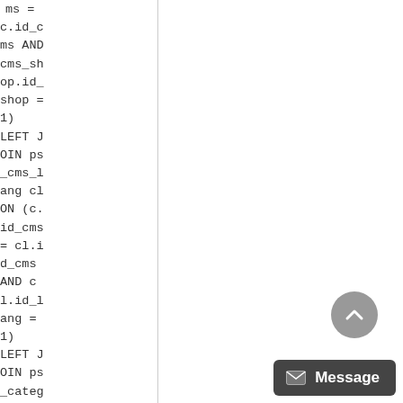ms = c.id_cms AND cms_shop.id_shop = 1)
LEFT JOIN ps_cms_lang cl ON (c.id_cms = cl.id_cms AND cl.id_lang = 1)
LEFT JOIN ps_category ca ON (ca.id_category = ct.